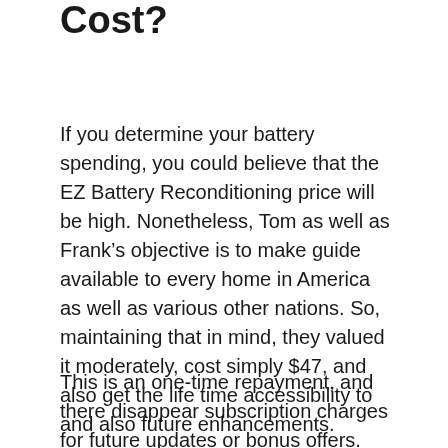Cost?
If you determine your battery spending, you could believe that the EZ Battery Reconditioning price will be high. Nonetheless, Tom as well as Frank’s objective is to make guide available to every home in America as well as various other nations. So, maintaining that in mind, they valued it moderately, cost simply $47, and also get the life time accessibility to and also future enhancements.
This is an one-time repayment, and there disappear subscription charges for future updates or bonus offers. You will get a 60-